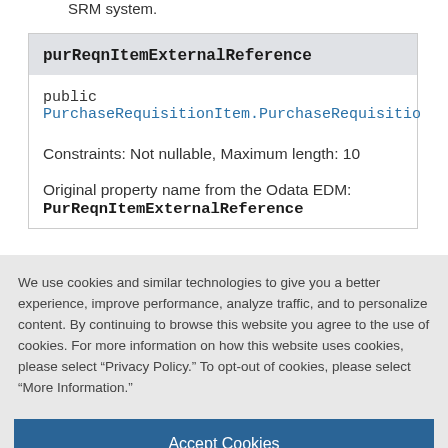SRM system.
purReqnItemExternalReference
public PurchaseRequisitionItem.PurchaseRequisitio...
Constraints: Not nullable, Maximum length: 10
Original property name from the Odata EDM: PurReqnItemExternalReference
We use cookies and similar technologies to give you a better experience, improve performance, analyze traffic, and to personalize content. By continuing to browse this website you agree to the use of cookies. For more information on how this website uses cookies, please select "Privacy Policy." To opt-out of cookies, please select "More Information."
Accept Cookies
More Information
Privacy Policy | Powered by: TrustArc